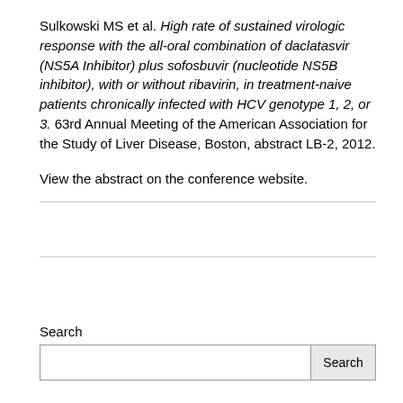Sulkowski MS et al. High rate of sustained virologic response with the all-oral combination of daclatasvir (NS5A Inhibitor) plus sofosbuvir (nucleotide NS5B inhibitor), with or without ribavirin, in treatment-naive patients chronically infected with HCV genotype 1, 2, or 3. 63rd Annual Meeting of the American Association for the Study of Liver Disease, Boston, abstract LB-2, 2012.
View the abstract on the conference website.
Search